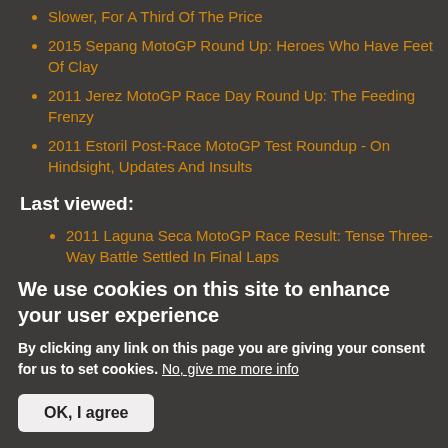Slower, For A Third Of The Price
2015 Sepang MotoGP Round Up: Heroes Who Have Feet Of Clay
2011 Jerez MotoGP Race Day Round Up: The Feeding Frenzy
2011 Estoril Post-Race MotoGP Test Roundup - On Hindsight, Updates And Insults
Last viewed:
2011 Laguna Seca MotoGP Race Result: Tense Three-Way Battle Settled In Final Laps
We use cookies on this site to enhance your user experience
By clicking any link on this page you are giving your consent for us to set cookies. No, give me more info
OK, I agree